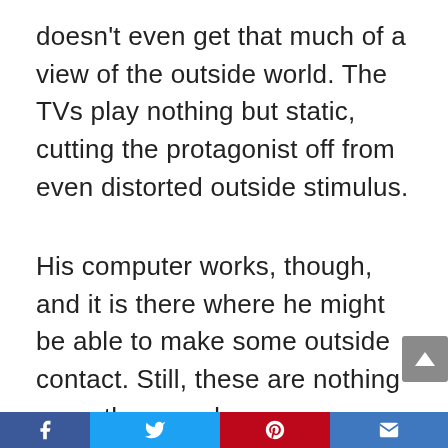doesn't even get that much of a view of the outside world. The TVs play nothing but static, cutting the protagonist off from even distorted outside stimulus.
His computer works, though, and it is there where he might be able to make some outside contact. Still, these are nothing more than words on a screen. The protagonist reaches out to someone over messenger, never quite capable of telling them the truth about how